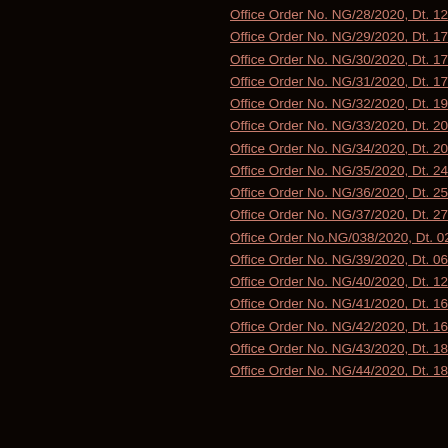Office Order No. NG/28/2020, Dt. 12.02.2020
Office Order No. NG/29/2020, Dt. 17.02.2020
Office Order No. NG/30/2020, Dt. 17.02.2020
Office Order No. NG/31/2020, Dt. 17.02.2020
Office Order No. NG/32/2020, Dt. 19.02.2020
Office Order No. NG/33/2020, Dt. 20.02.2020
Office Order No. NG/34/2020, Dt. 20.02.2020
Office Order No. NG/35/2020, Dt. 24.02.2020
Office Order No. NG/36/2020, Dt. 25.02.2020
Office Order No. NG/37/2020, Dt. 27.02.2020
Office Order No.NG/038/2020, Dt. 02.03.2020
Office Order No. NG/39/2020, Dt. 06.03.2020
Office Order No. NG/40/2020, Dt. 12.03.2020
Office Order No. NG/41/2020, Dt. 16.03.2020
Office Order No. NG/42/2020, Dt. 16.03.2020
Office Order No. NG/43/2020, Dt. 18.03.2020
Office Order No. NG/44/2020, Dt. 18.03.20...